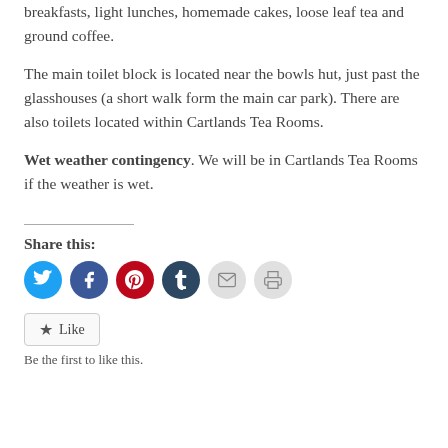breakfasts, light lunches, homemade cakes, loose leaf tea and ground coffee.
The main toilet block is located near the bowls hut, just past the glasshouses (a short walk form the main car park). There are also toilets located within Cartlands Tea Rooms.
Wet weather contingency. We will be in Cartlands Tea Rooms if the weather is wet.
Share this:
[Figure (infographic): Social sharing icons: Twitter (blue circle), Facebook (blue circle), Pinterest (red circle), Tumblr (dark blue circle), Email (light grey circle), Print (light grey circle)]
Like
Be the first to like this.